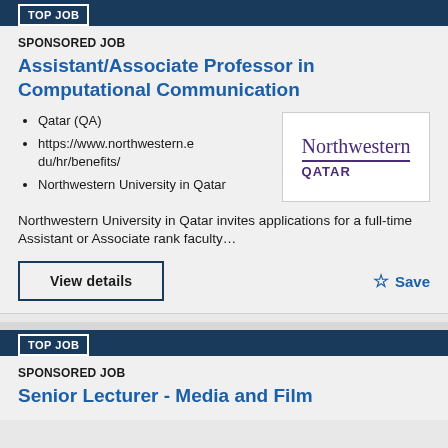TOP JOB
SPONSORED JOB
Assistant/Associate Professor in Computational Communication
Qatar (QA)
https://www.northwestern.edu/hr/benefits/
Northwestern University in Qatar
[Figure (logo): Northwestern Qatar logo — 'Northwestern' in purple serif font and 'QATAR' in bold purple capitals below, separated by a purple underline]
Northwestern University in Qatar invites applications for a full-time Assistant or Associate rank faculty…
View details
Save
TOP JOB
SPONSORED JOB
Senior Lecturer - Media and Film